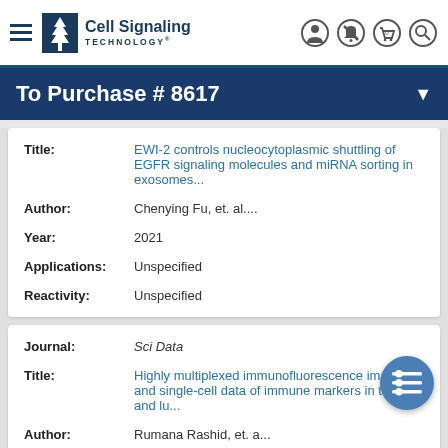Cell Signaling Technology
To Purchase # 8617
| Field | Value |
| --- | --- |
| Title: | EWI-2 controls nucleocytoplasmic shuttling of EGFR signaling molecules and miRNA sorting in exosomes... |
| Author: | Chenying Fu, et. al.... |
| Year: | 2021 |
| Applications: | Unspecified |
| Reactivity: | Unspecified |
| Field | Value |
| --- | --- |
| Journal: | Sci Data |
| Title: | Highly multiplexed immunofluorescence images and single-cell data of immune markers in tonsil and lu... |
| Author: | Rumana Rashid, et. a... |